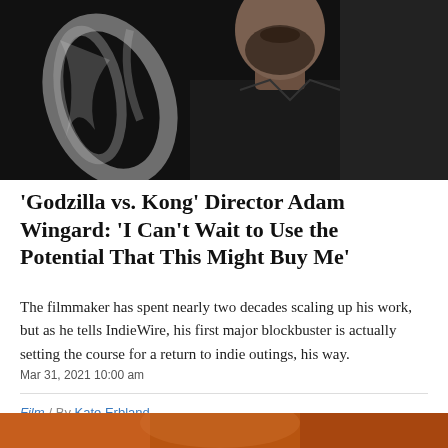[Figure (photo): Black and white portrait photograph of a bearded man in a dark shirt, photographed from the chest up against a dark background with light abstract shapes]
'Godzilla vs. Kong' Director Adam Wingard: 'I Can't Wait to Use the Potential That This Might Buy Me'
The filmmaker has spent nearly two decades scaling up his work, but as he tells IndieWire, his first major blockbuster is actually setting the course for a return to indie outings, his way.
Mar 31, 2021 10:00 am
Film  /  By Kate Erbland
[Figure (photo): Partial bottom image, warm orange/amber tones visible at the very bottom of the page]